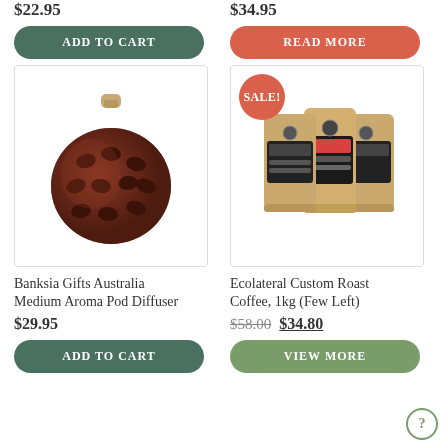$22.95
$34.95
ADD TO CART
READ MORE
[Figure (photo): Banksia Gifts Australia Medium Aroma Pod Diffuser - a dark reddish-brown ceramic vessel with oval holes and a wooden top knob]
[Figure (photo): Three kraft paper coffee bags with dark labels, Ecolateral Custom Roast Coffee 1kg, with a SALE! badge]
Banksia Gifts Australia Medium Aroma Pod Diffuser
Ecolateral Custom Roast Coffee, 1kg (Few Left)
$29.95
$58.00 $34.80
ADD TO CART
VIEW MORE